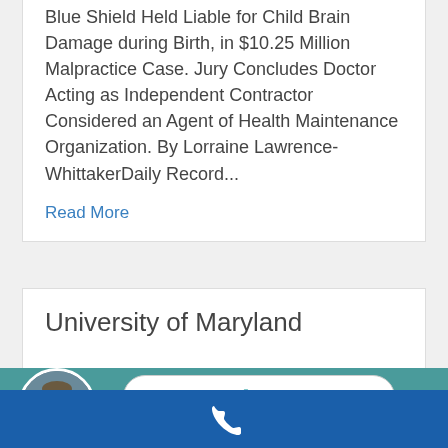Blue Shield Held Liable for Child Brain Damage during Birth, in $10.25 Million Malpractice Case. Jury Concludes Doctor Acting as Independent Contractor Considered an Agent of Health Maintenance Organization. By Lorraine Lawrence-WhittakerDaily Record...
Read More
University of Maryland
[Figure (other): Live Chat button with 'LIVE CHAT | START NOW' text on teal background band, with a circular avatar photo of a man in a suit on the left]
[Figure (other): Blue footer band with a white phone/call icon]